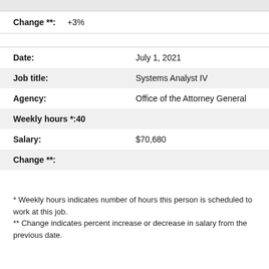Change **: +3%
| Date: | July 1, 2021 |
| Job title: | Systems Analyst IV |
| Agency: | Office of the Attorney General |
| Weekly hours *: | 40 |
| Salary: | $70,680 |
| Change **: |  |
* Weekly hours indicates number of hours this person is scheduled to work at this job.
** Change indicates percent increase or decrease in salary from the previous date.